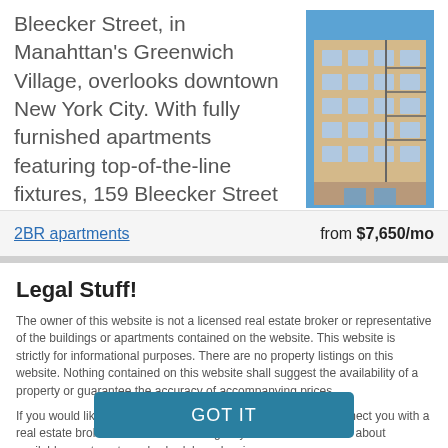Bleecker Street, in Manahttan's Greenwich Village, overlooks downtown New York City. With fully furnished apartments featuring top-of-the-line fixtures, 159 Bleecker Street is the ideal rental. A location amidst Greenwich Village's famed theatres makes the building a coveted find.
[Figure (photo): Exterior photograph of a multi-story apartment building (159 Bleecker Street) with beige/tan facade, multiple balconies, and fire escapes, against a blue sky.]
2BR apartments   from $7,650/mo
Legal Stuff!
The owner of this website is not a licensed real estate broker or representative of the buildings or apartments contained on the website. This website is strictly for informational purposes. There are no property listings on this website. Nothing contained on this website shall suggest the availability of a property or guarantee the accuracy of accompanying prices.
If you would like more information about a property, we will connect you with a real estate broker who will be able to give you more information about available apartments and schedule a showing.
GOT IT